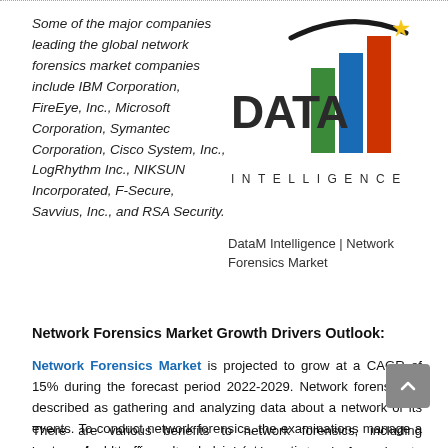Some of the major companies leading the global network forensics market companies include IBM Corporation, FireEye, Inc., Microsoft Corporation, Symantec Corporation, Cisco System, Inc., LogRhythm Inc., NIKSUN Incorporated, F-Secure, Savvius, Inc., and RSA Security.
[Figure (logo): DataM Intelligence logo with bar chart icon and text INTELLIGENCE below]
DataM Intelligence | Network Forensics Market
Network Forensics Market Growth Drivers Outlook:
Network Forensics Market is projected to grow at a CAGR of 15% during the forecast period 2022-2029. Network forensics is described as gathering and analyzing data about a network or its events. To conduct network forensics, the examinations manage a system of odd traffic and underlying interventions.
There are various benefits to network forensics, including increased network system provisioning, network forensics to determine the security